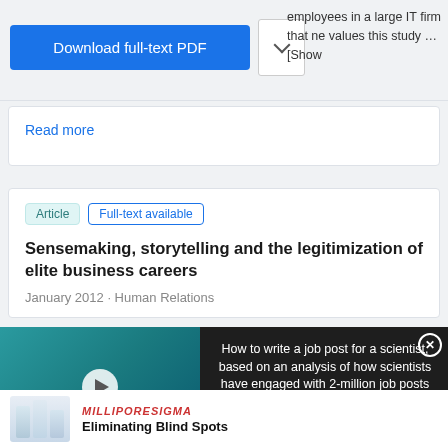[Figure (screenshot): Download full-text PDF button (blue) and chevron dropdown button]
employees in a large IT firm that values this study … [Show
Read more
Article  Full-text available
Sensemaking, storytelling and the legitimization of elite business careers
January 2012 · Human Relations
[Figure (screenshot): Video thumbnail showing a woman in an office with overlay text 'HOW TO WRITE A JOB POST FOR A SCIENTIST' and a play button]
How to write a job post for a scientist, based on an analysis of how scientists have engaged with 2-million job posts
[Figure (photo): MilliporeSigma advertisement showing lab bottles and logo with headline Eliminating Blind Spots]